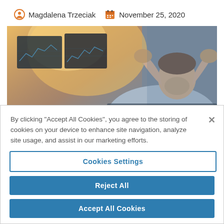Magdalena Trzeciak  November 25, 2020
[Figure (photo): A man in distress sitting at a desk with multiple computer monitors showing financial charts, holding his head in his hands, back-lit by warm light from a window.]
By clicking “Accept All Cookies”, you agree to the storing of cookies on your device to enhance site navigation, analyze site usage, and assist in our marketing efforts.
Cookies Settings
Reject All
Accept All Cookies